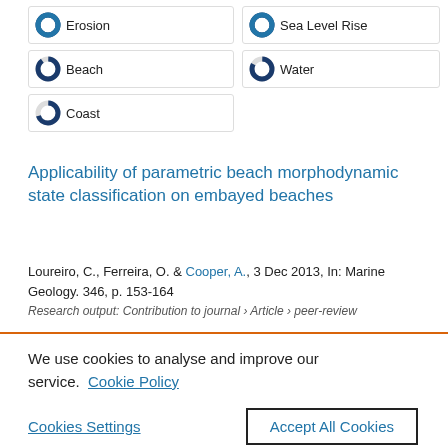100% Erosion
100% Sea Level Rise
100% Beach
90% Water
70% Coast
Applicability of parametric beach morphodynamic state classification on embayed beaches
Loureiro, C., Ferreira, O. & Cooper, A., 3 Dec 2013, In: Marine Geology. 346, p. 153-164
Research output: Contribution to journal › Article › peer-review
We use cookies to analyse and improve our service. Cookie Policy
Cookies Settings
Accept All Cookies